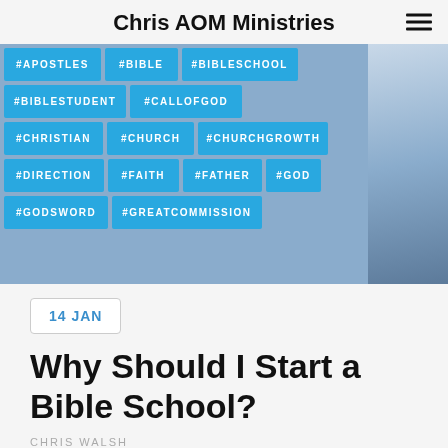Chris AOM Ministries
[Figure (infographic): Tag cloud image showing hashtags on blue tiles: #APOSTLES, #BIBLE, #BIBLESCHOOL, #BIBLESTUDENT, #CALLOFGOD, #CHRISTIAN, #CHURCH, #CHURCHGROWTH, #DIRECTION, #FAITH, #FATHER, #GOD, #GODSWORD, #GREATCOMMISSION, overlaid on a sky background]
14 JAN
Why Should I Start a Bible School?
CHRIS WALSH